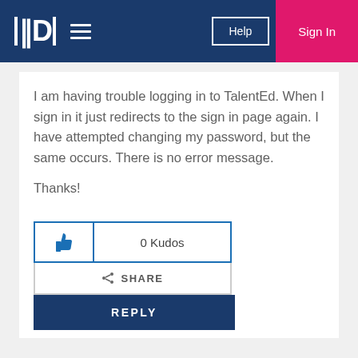[Figure (logo): Pandora/platform logo with stylized P and hamburger menu icon on dark blue navigation header]
I am having trouble logging in to TalentEd.  When I sign in it just redirects to the sign in page again.  I have attempted changing my password, but the same occurs.  There is no error message.

Thanks!
[Figure (other): 0 Kudos button with thumbs up icon, Share button, and Reply button]